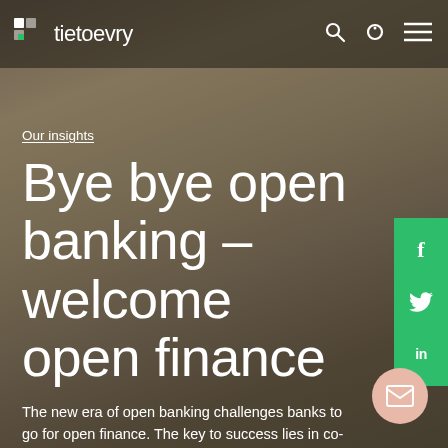tietoevry
Our insights
Bye bye open banking – welcome open finance
The new era of open banking challenges banks to go for open finance. The key to success lies in co-creation with multiple parties.
Vadims Lamovs / March 14, 2022